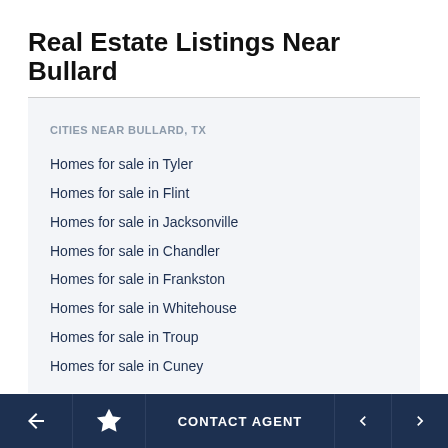Real Estate Listings Near Bullard
CITIES NEAR BULLARD, TX
Homes for sale in Tyler
Homes for sale in Flint
Homes for sale in Jacksonville
Homes for sale in Chandler
Homes for sale in Frankston
Homes for sale in Whitehouse
Homes for sale in Troup
Homes for sale in Cuney
CONTACT AGENT